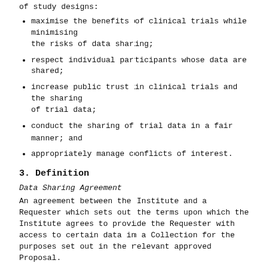of study designs:
maximise the benefits of clinical trials while minimising the risks of data sharing;
respect individual participants whose data are shared;
increase public trust in clinical trials and the sharing of trial data;
conduct the sharing of trial data in a fair manner; and
appropriately manage conflicts of interest.
3. Definition
Data Sharing Agreement
An agreement between the Institute and a Requester which sets out the terms upon which the Institute agrees to provide the Requester with access to certain data in a Collection for the purposes set out in the relevant approved Proposal.
Collection